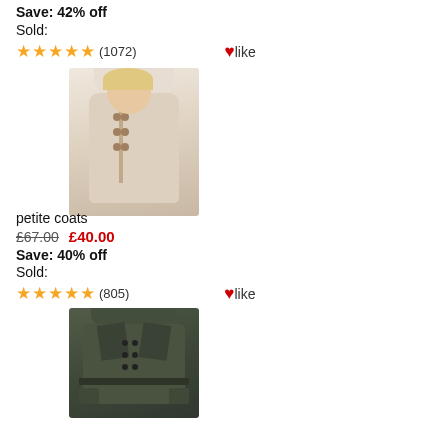Save: 42% off
Sold:
★★★★★ (1072)   ♥like
[Figure (photo): Woman wearing a beige double-breasted petite coat]
petite coats
£67.00  £40.00
Save: 40% off
Sold:
★★★★★ (805)   ♥like
[Figure (photo): Dark olive/green double-breasted belted short coat]